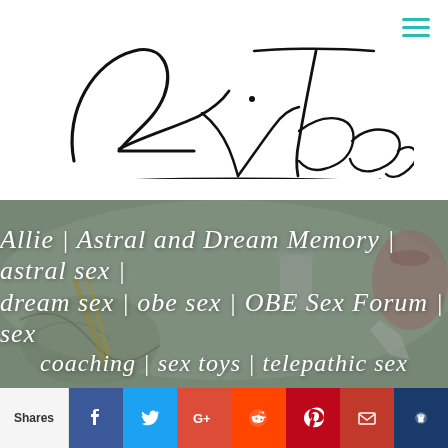[Figure (logo): Allie Theiss cursive signature logo with tagline CONNECTION. ENERGY. WELLNESS.]
[Figure (photo): Hero image showing wellness/spiritual items: herbs, crystals, candle, small jar with herbs, on a light surface. Overlaid with italic script navigation links: Allie | Astral and Dream Memory | astral sex | dream sex | obe sex | OBE Sex Forum | sex coaching | sex toys | telepathic sex]
Shares  [Facebook] [Twitter] [Google+] [Reddit] [Pinterest] [Email] [Su]